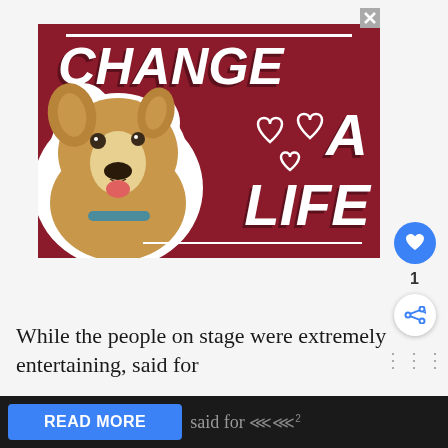[Figure (photo): Advertisement banner with dark red background showing a dog (pit bull mix) on the left side and bold white italic text reading 'CHANGE A LIFE' with heart outlines. Close button (X) in top right corner.]
While the people on stage were extremely entertaining, said for
READ MORE